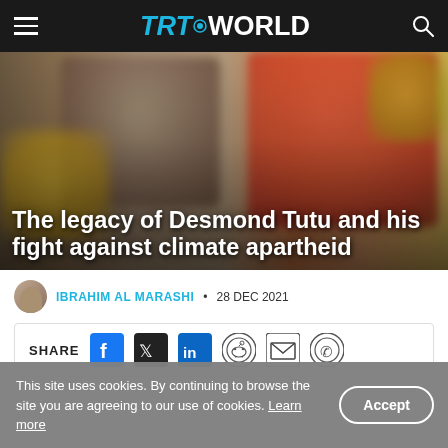TRT WORLD
[Figure (photo): Blurred hero image showing a portrait photo on the left and a person in red on the right, with yellow flowers visible, overlaid with the article headline]
The legacy of Desmond Tutu and his fight against climate apartheid
IBRAHIM AL MARASHI • 28 DEC 2021
SHARE [Facebook] [Twitter] [LinkedIn] [Reddit] [Email] [WhatsApp]
This site uses cookies. By continuing to browse the site you are agreeing to our use of cookies. Learn more